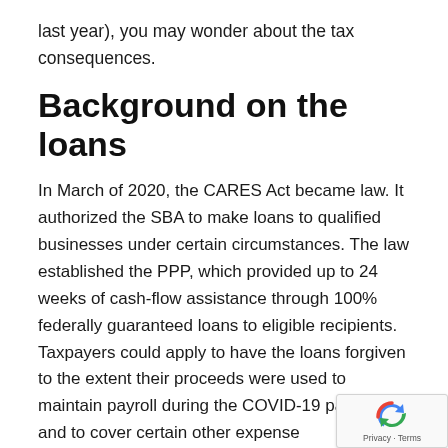last year), you may wonder about the tax consequences.
Background on the loans
In March of 2020, the CARES Act became law. It authorized the SBA to make loans to qualified businesses under certain circumstances. The law established the PPP, which provided up to 24 weeks of cash-flow assistance through 100% federally guaranteed loans to eligible recipients. Taxpayers could apply to have the loans forgiven to the extent their proceeds were used to maintain payroll during the COVID-19 pandemic and to cover certain other expense